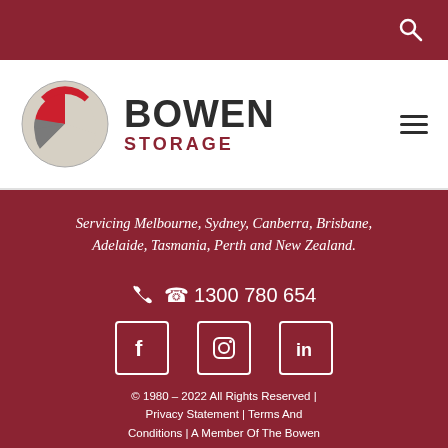Search icon header bar
[Figure (logo): Bowen Storage logo with circular graphic divided into red, grey, and cream sections, alongside bold text BOWEN STORAGE in dark and red]
Servicing Melbourne, Sydney, Canberra, Brisbane, Adelaide, Tasmania, Perth and New Zealand.
1300 780 654
[Figure (illustration): Facebook, Instagram, and LinkedIn social media icons in white outlined boxes]
© 1980 – 2022 All Rights Reserved  |  Privacy Statement  |  Terms And Conditions  |  A Member Of The Bowen